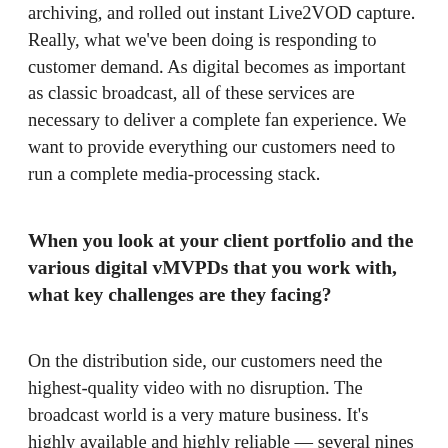archiving, and rolled out instant Live2VOD capture. Really, what we've been doing is responding to customer demand. As digital becomes as important as classic broadcast, all of these services are necessary to deliver a complete fan experience. We want to provide everything our customers need to run a complete media-processing stack.
When you look at your client portfolio and the various digital vMVPDs that you work with, what key challenges are they facing?
On the distribution side, our customers need the highest-quality video with no disruption. The broadcast world is a very mature business. It's highly available and highly reliable — several nines strength — and fans expect that. People look at digital-first not as a science project but as the primary place fans are watching television. The experience needs to be comparable to classic cable systems. It's quite a challenge to deliver that in the internet world